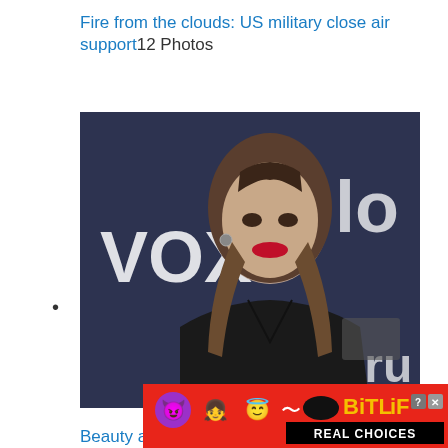Fire from the clouds: US military close air support12 Photos
•
[Figure (photo): Portrait photo of a woman with brown hair wearing a black outfit, posing in front of a background with 'VOX' branding]
Beauty and brains: Smartest female celebrities15 Photos
[Figure (photo): Partial image of a grey background with an object, partially visible]
[Figure (other): BitLife advertisement banner with colorful emojis on red background reading REAL CHOICES]